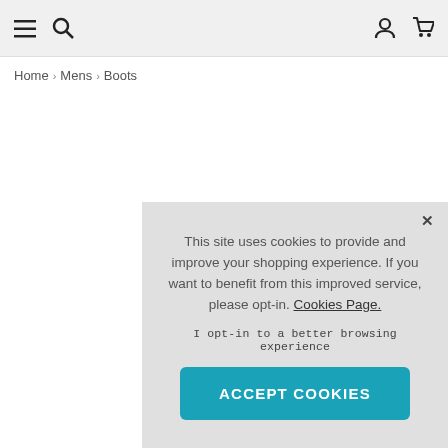Navigation bar with menu, search, user, and cart icons
Home › Mens › Boots
This site uses cookies to provide and improve your shopping experience. If you want to benefit from this improved service, please opt-in. Cookies Page.

I opt-in to a better browsing experience

ACCEPT COOKIES